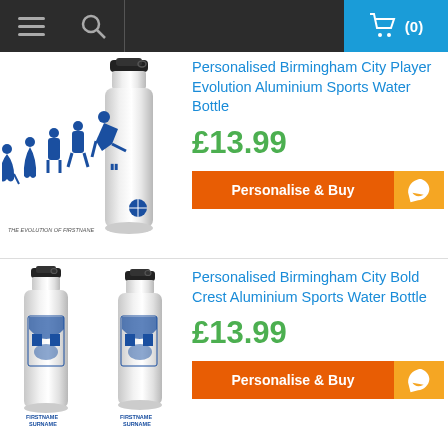(0)
Personalised Birmingham City Player Evolution Aluminium Sports Water Bottle
£13.99
Personalise & Buy
Personalised Birmingham City Bold Crest Aluminium Sports Water Bottle
£13.99
Personalise & Buy